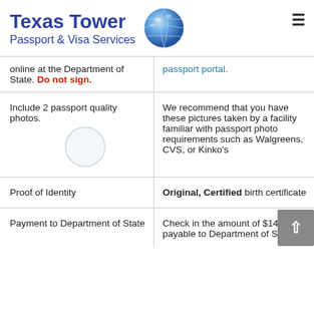Texas Tower Passport & Visa Services
online at the Department of State. Do not sign. | passport portal.
|  |  |
| --- | --- |
| Include 2 passport quality photos. | We recommend that you have these pictures taken by a facility familiar with passport photo requirements such as Walgreens, CVS, or Kinko's |
| Proof of Identity | Original, Certified birth certificate |
| Payment to Department of State | Check in the amount of $140 payable to Department of State. |